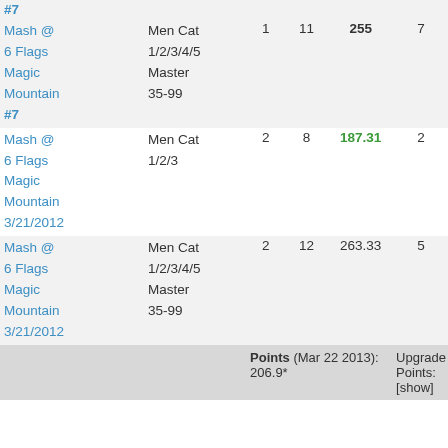| Event | Category |  |  | Score | Pts |
| --- | --- | --- | --- | --- | --- |
| #7 |  |  |  |  |  |
| Mash @ 6 Flags Magic Mountain #7 | Men Cat 1/2/3/4/5
Master
35-99 | 1 | 11 | 255 | 7 |
| Mash @ 6 Flags Magic Mountain 3/21/2012 | Men Cat 1/2/3 | 2 | 8 | 187.31 | 2 |
| Mash @ 6 Flags Magic Mountain 3/21/2012 | Men Cat 1/2/3/4/5
Master
35-99 | 2 | 12 | 263.33 | 5 |
Points (Mar 22 2013): 206.9*   Upgrade Points: [show]